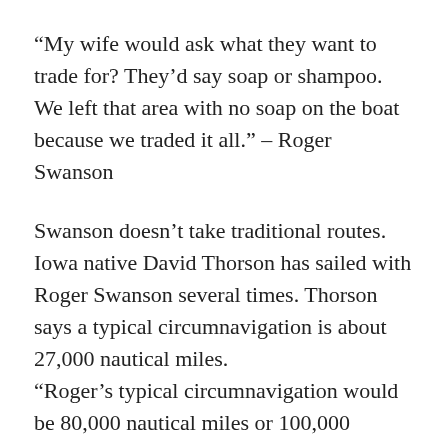“My wife would ask what they want to trade for? They’d say soap or shampoo. We left that area with no soap on the boat because we traded it all.” – Roger Swanson
Swanson doesn’t take traditional routes. Iowa native David Thorson has sailed with Roger Swanson several times. Thorson says a typical circumnavigation is about 27,000 nautical miles. “Roger’s typical circumnavigation would be 80,000 nautical miles or 100,000 nautical miles, because he doesn’t take the traditional route and that’s what makes his cruising so interesting and that’s why he’s being recognized. He’ll do a circumnavigation by way of Antarctica and Alaska and South Africa